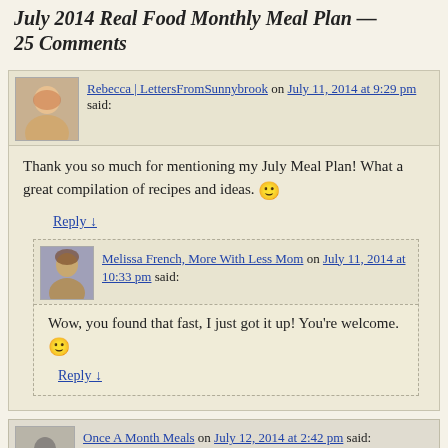July 2014 Real Food Monthly Meal Plan — 25 Comments
Rebecca | LettersFromSunnybrook on July 11, 2014 at 9:29 pm said:
Thank you so much for mentioning my July Meal Plan! What a great compilation of recipes and ideas. 🙂
Reply ↓
Melissa French, More With Less Mom on July 11, 2014 at 10:33 pm said:
Wow, you found that fast, I just got it up! You're welcome. 🙂
Reply ↓
Once A Month Meals on July 12, 2014 at 2:42 pm said:
Would like to say more and shared... Thanks for including...